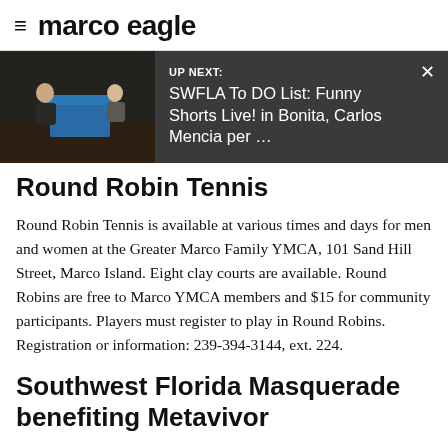marco eagle
[Figure (screenshot): Up Next banner with a photo of two people on stage at a table with a blue tablecloth. Dark grey background with text: UP NEXT: SWFLA To DO List: Funny Shorts Live! in Bonita, Carlos Mencia per … and an X close button.]
Round Robin Tennis
Round Robin Tennis is available at various times and days for men and women at the Greater Marco Family YMCA, 101 Sand Hill Street, Marco Island. Eight clay courts are available. Round Robins are free to Marco YMCA members and $15 for community participants. Players must register to play in Round Robins. Registration or information: 239-394-3144, ext. 224.
Southwest Florida Masquerade benefiting Metavivor